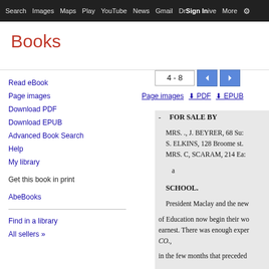Search  Images  Maps  Play  YouTube  News  Gmail  Drive  More  Sign in
Books
Read eBook
Page images
Download PDF
Download EPUB
Advanced Book Search
Help
My library
Get this book in print
AbeBooks
Find in a library
All sellers »
4 - 8
Page images  PDF  EPUB
- FOR SALE BY

MRS. ., J. BEYRER, 68 Su:
S. ELKINS, 128 Broome st.
MRS. C, SCARAM, 214 Ea:

a

SCHOOL.

President Maclay and the new

of Education now begin their wo
earuest. There was enough exper
CO.,

in the few months that preceded